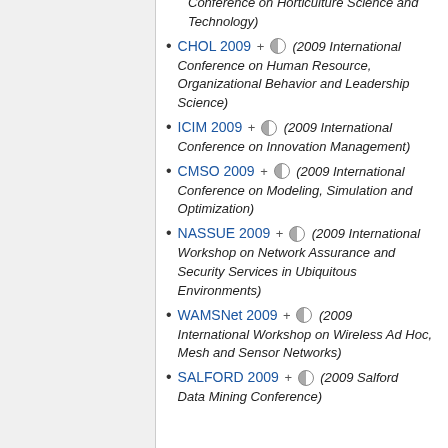Conference on Horticulture Science and Technology)
CHOL 2009 + (2009 International Conference on Human Resource, Organizational Behavior and Leadership Science)
ICIM 2009 + (2009 International Conference on Innovation Management)
CMSO 2009 + (2009 International Conference on Modeling, Simulation and Optimization)
NASSUE 2009 + (2009 International Workshop on Network Assurance and Security Services in Ubiquitous Environments)
WAMSNet 2009 + (2009 International Workshop on Wireless Ad Hoc, Mesh and Sensor Networks)
SALFORD 2009 + (2009 Salford Data Mining Conference)